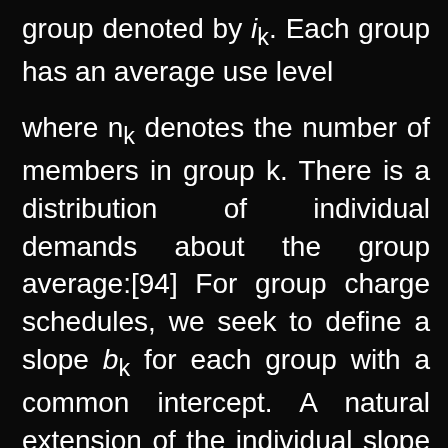group denoted by i_k. Each group has an average use level
where n_k denotes the number of members in group k. There is a distribution of individual demands about the group average:[94] For group charge schedules, we seek to define a slope b_k for each group with a common intercept. A natural extension of the individual slope and intercept parameter formulas is to solve the following simultaneous